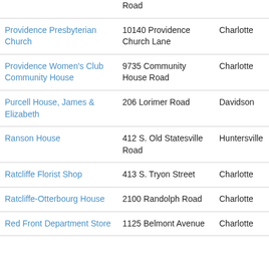| Name | Address | City | ID |
| --- | --- | --- | --- |
| (Road - partial) |  |  |  |
| Providence Presbyterian Church | 10140 Providence Church Lane | Charlotte | 2253815... |
| Providence Women's Club Community House | 9735 Community House Road | Charlotte | 2290111... |
| Purcell House, James & Elizabeth | 206 Lorimer Road | Davidson | 0070130... |
| Ranson House | 412 S. Old Statesville Road | Huntersville | 0171130... |
| Ratcliffe Florist Shop | 413 S. Tryon Street | Charlotte | 1250520... |
| Ratcliffe-Otterbourg House | 2100 Randolph Road | Charlotte | 1550271... |
| Red Front Department Store | 1125 Belmont Avenue (partial) | Charlotte | 0811270... |